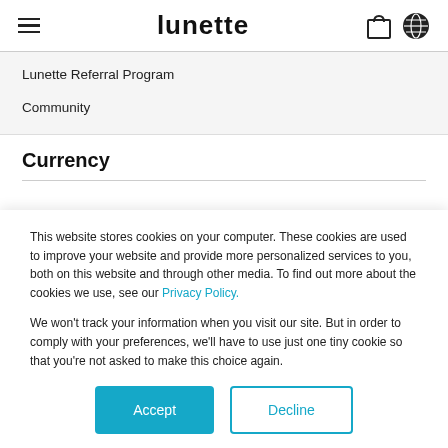lunette
Lunette Referral Program
Community
Currency
This website stores cookies on your computer. These cookies are used to improve your website and provide more personalized services to you, both on this website and through other media. To find out more about the cookies we use, see our Privacy Policy.

We won't track your information when you visit our site. But in order to comply with your preferences, we'll have to use just one tiny cookie so that you're not asked to make this choice again.
Accept | Decline